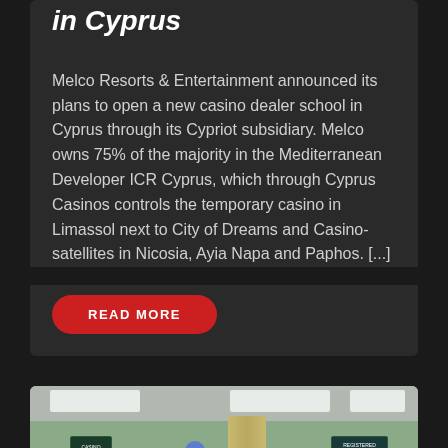in Cyprus
Melco Resorts & Entertainment announced its plans to open a new casino dealer school in Cyprus through its Cypriot subsidiary. Melco owns 75% of the majority in the Mediterranean Developer ICR Cyprus, which through Cyprus Casinos controls the temporary casino in Limassol next to City of Dreams and Casino-satellites in Nicosia, Ayia Napa and Paphos. [...]
READ MORE
[Figure (photo): Interior photo of a casino or gaming hall showing a row of turnstile/barrier units in the foreground, green-painted walls, ceiling with fluorescent light panels, a decorative pillar in the center, and informational signs on the walls.]